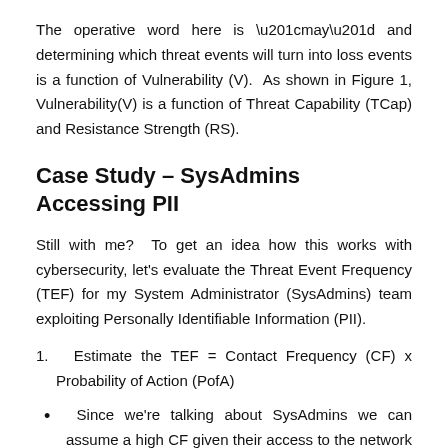The operative word here is “may” and determining which threat events will turn into loss events is a function of Vulnerability (V).  As shown in Figure 1, Vulnerability(V) is a function of Threat Capability (TCap) and Resistance Strength (RS).
Case Study – SysAdmins Accessing PII
Still with me?  To get an idea how this works with cybersecurity, let’s evaluate the Threat Event Frequency (TEF) for my System Administrator (SysAdmins) team exploiting Personally Identifiable Information (PII).
1.  Estimate the TEF = Contact Frequency (CF) x Probability of Action (PofA)
Since we’re talking about SysAdmins we can assume a high CF given their access to the network and